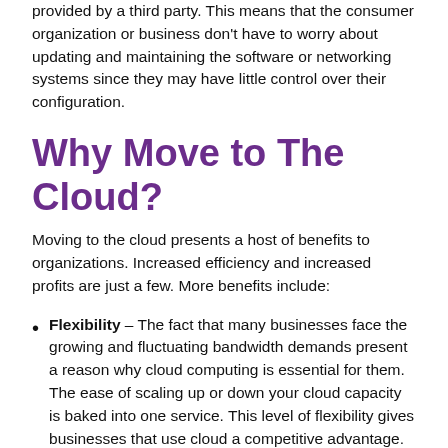provided by a third party. This means that the consumer organization or business don't have to worry about updating and maintaining the software or networking systems since they may have little control over their configuration.
Why Move to The Cloud?
Moving to the cloud presents a host of benefits to organizations. Increased efficiency and increased profits are just a few. More benefits include:
Flexibility – The fact that many businesses face the growing and fluctuating bandwidth demands present a reason why cloud computing is essential for them. The ease of scaling up or down your cloud capacity is baked into one service. This level of flexibility gives businesses that use cloud a competitive advantage.
Automatic software updates – The fact that the